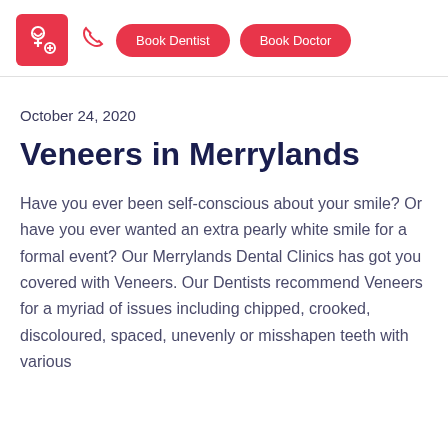Book Dentist | Book Doctor
October 24, 2020
Veneers in Merrylands
Have you ever been self-conscious about your smile? Or have you ever wanted an extra pearly white smile for a formal event? Our Merrylands Dental Clinics has got you covered with Veneers. Our Dentists recommend Veneers for a myriad of issues including chipped, crooked, discoloured, spaced, unevenly or misshapen teeth with various